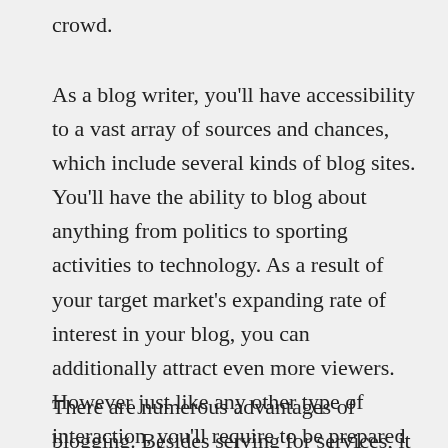crowd.
As a blog writer, you'll have accessibility to a vast array of sources and chances, which include several kinds of blog sites. You'll have the ability to blog about anything from politics to sporting activities to technology. As a result of your target market's expanding rate of interest in your blog, you can additionally attract even more viewers. However just like any other type of interaction, you'll require to be prepared to deal with obstacles as well as misfortune.
There are numerous advantages of blogging. Besides serving for services, it